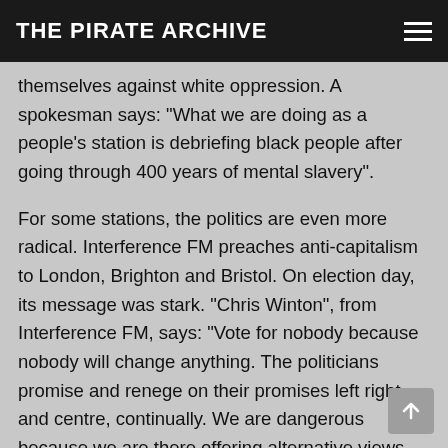THE PIRATE ARCHIVE
themselves against white oppression. A spokesman says: “What we are doing as a people’s station is debriefing black people after going through 400 years of mental slavery”.
For some stations, the politics are even more radical. Interference FM preaches anti-capitalism to London, Brighton and Bristol. On election day, its message was stark. “Chris Winton”, from Interference FM, says: “Vote for nobody because nobody will change anything. The politicians promise and renege on their promises left right and centre, continually. We are dangerous because we are there offering alternative views. When we start giving out the actual facts, we are dangerous to the state. Stations that just play music last for two or three months. We last five or six hours.”
The DTI sees raids as the most cost effective way of